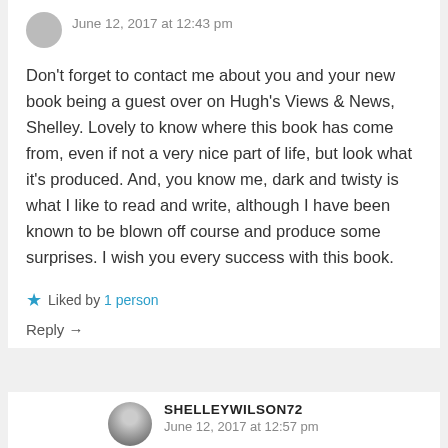June 12, 2017 at 12:43 pm
Don't forget to contact me about you and your new book being a guest over on Hugh's Views & News, Shelley. Lovely to know where this book has come from, even if not a very nice part of life, but look what it's produced. And, you know me, dark and twisty is what I like to read and write, although I have been known to be blown off course and produce some surprises. I wish you every success with this book.
Liked by 1 person
Reply →
SHELLEYWILSON72
June 12, 2017 at 12:57 pm